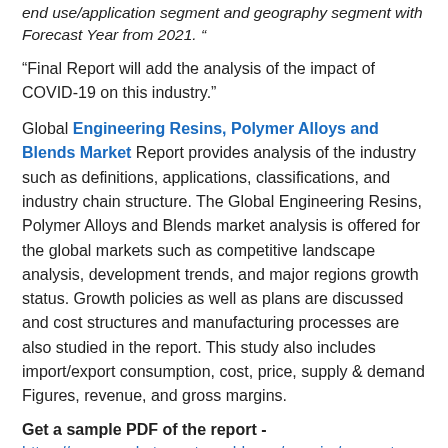end use/application segment and geography segment with Forecast Year from 2021. "
"Final Report will add the analysis of the impact of COVID-19 on this industry."
Global Engineering Resins, Polymer Alloys and Blends Market Report provides analysis of the industry such as definitions, applications, classifications, and industry chain structure. The Global Engineering Resins, Polymer Alloys and Blends market analysis is offered for the global markets such as competitive landscape analysis, development trends, and major regions growth status. Growth policies as well as plans are discussed and cost structures and manufacturing processes are also studied in the report. This study also includes import/export consumption, cost, price, supply & demand Figures, revenue, and gross margins.
Get a sample PDF of the report -
https://www.marketreportsworld.com/enquiry/request-sample/16810841
Global Engineering Resins, Polymer Alloys and Blends